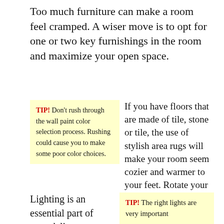Too much furniture can make a room feel cramped. A wiser move is to opt for one or two key furnishings in the room and maximize your open space.
TIP! Don't rush through the wall paint color selection process. Rushing could cause you to make some poor color choices.
If you have floors that are made of tile, stone or tile, the use of stylish area rugs will make your room seem cozier and warmer to your feet. Rotate your rugs regularly to keep wear and tear evened out.
Lighting is an essential part of remodeling a room. It has
TIP! The right lights are very important